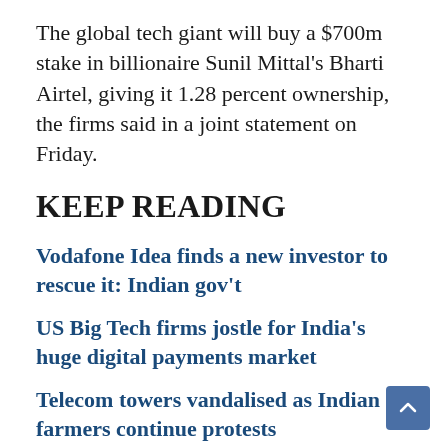The global tech giant will buy a $700m stake in billionaire Sunil Mittal's Bharti Airtel, giving it 1.28 percent ownership, the firms said in a joint statement on Friday.
KEEP READING
Vodafone Idea finds a new investor to rescue it: Indian gov't
US Big Tech firms jostle for India's huge digital payments market
Telecom towers vandalised as Indian farmers continue protests